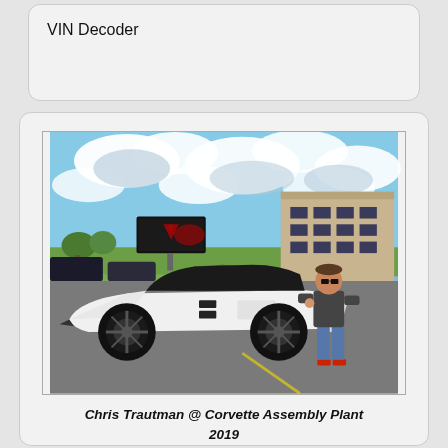VIN Decoder
[Figure (photo): Photo of Chris Trautman standing next to a white Corvette in a parking lot outside the Corvette Assembly Plant, 2019. Cloudy sky in background, building visible on right.]
Chris Trautman @ Corvette Assembly Plant
2019